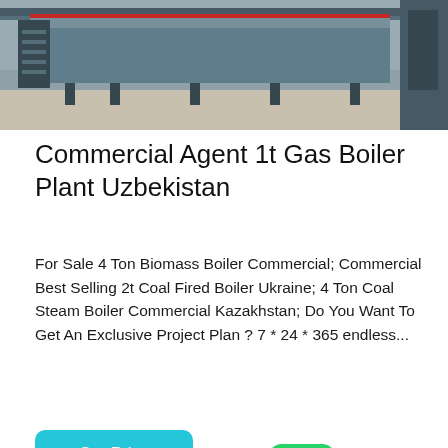[Figure (photo): Industrial facility interior showing overhead machinery and metal framework on a concrete floor]
Commercial Agent 1t Gas Boiler Plant Uzbekistan
For Sale 4 Ton Biomass Boiler Commercial; Commercial Best Selling 2t Coal Fired Boiler Ukraine; 4 Ton Coal Steam Boiler Commercial Kazakhstan; Do You Want To Get An Exclusive Project Plan ? 7 * 24 * 365 endless...
[Figure (photo): Industrial boiler plant interior showing white and blue boiler tanks, piping, and yellow overhead crane beam]